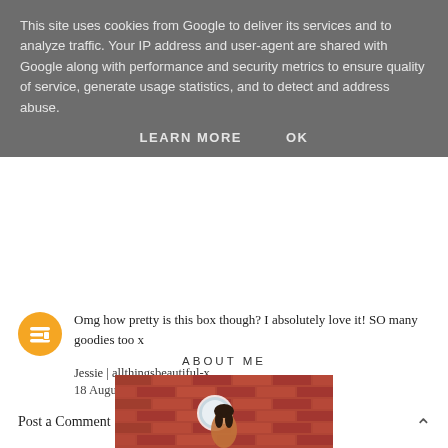This site uses cookies from Google to deliver its services and to analyze traffic. Your IP address and user-agent are shared with Google along with performance and security metrics to ensure quality of service, generate usage statistics, and to detect and address abuse.
LEARN MORE   OK
Omg how pretty is this box though? I absolutely love it! SO many goodies too x
Jessie | allthingsbeautiful-x
18 August 2018 at 14:28
Post a Comment
ABOUT ME
[Figure (photo): Photo of a young woman with dark hair standing in front of a red brick wall with a circular window, wearing a floral top.]